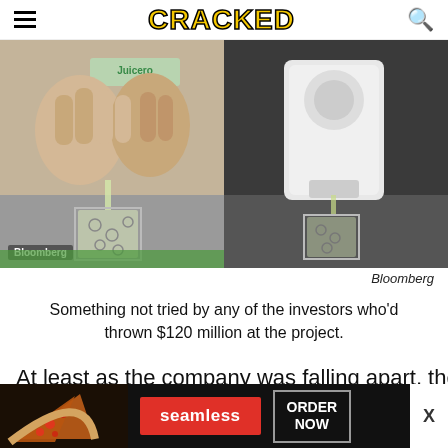CRACKED
[Figure (photo): Split image showing hands squeezing a Juicero juice pack on the left and the Juicero machine dispensing juice on the right. Bloomberg watermark visible on the left panel.]
Bloomberg
Something not tried by any of the investors who'd thrown $120 million at the project.
At least as the company was falling apart, they offered
[Figure (screenshot): Seamless food delivery advertisement banner with pizza image on left, red Seamless logo in center, and ORDER NOW button on right with an X close button.]